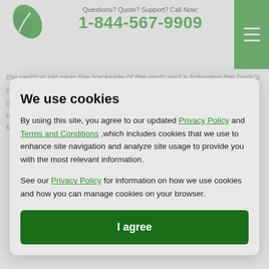Questions? Quote? Support? Call Now: 1-844-567-9909
the vertical slit near the backside of the grub and a following the body's curve) row of brown spines. Although Asiatic Garden Beetles pose less of a problem to lawns, they can be devastating, chewing insects the roots of many plants. Garden Beetle when digging and searching for food.
We use cookies
By using this site, you agree to our updated Privacy Policy and Terms and Conditions ,which includes cookies that we use to enhance site navigation and analyze site usage to provide you with the most relevant information.
See our Privacy Policy for information on how we use cookies and how you can manage cookies on your browser.
I agree